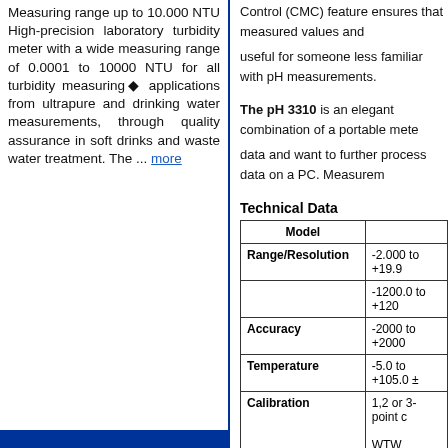Measuring range up to 10.000 NTU High-precision laboratory turbidity meter with a wide measuring range of 0.0001 to 10000 NTU for all turbidity measuring◆ applications from ultrapure and drinking water measurements, through quality assurance in soft drinks and waste water treatment. The ... more
Control (CMC) feature ensures that measured values and
useful for someone less familiar with pH measurements.
The pH 3310 is an elegant combination of a portable mete...
data and want to further process data on a PC. Measurem...
Technical Data
| Model |  |
| --- | --- |
| Range/Resolution | -2.000 to +19.9... |
|  | -1200.0 to +120... |
| Accuracy | -2000 to +2000... |
| Temperature | -5.0 to +105.0 ±... |
| Calibration | 1,2 or 3-point c...
WTW technical... |
| Memory / Logger | - |
| Display | 7-segment LCD... |